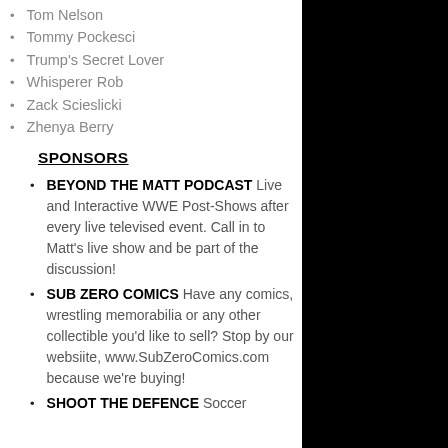Tom Nelson
Tommy Pockesci
Trump's Secret Lover
Whisperer Rob
Zack Scieslicki
Zhenya Berry
SPONSORS
BEYOND THE MATT PODCAST Live and Interactive WWE Post-Shows after every live televised event. Call in to Matt's live show and be part of the discussion!
SUB ZERO COMICS Have any comics, wrestling memorabilia or any other collectible you'd like to sell? Stop by our websiite, www.SubZeroComics.com because we're buying!
SHOOT THE DEFENCE Soccer